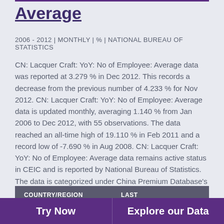Average
2006 - 2012 | MONTHLY | % | NATIONAL BUREAU OF STATISTICS
CN: Lacquer Craft: YoY: No of Employee: Average data was reported at 3.279 % in Dec 2012. This records a decrease from the previous number of 4.233 % for Nov 2012. CN: Lacquer Craft: YoY: No of Employee: Average data is updated monthly, averaging 1.140 % from Jan 2006 to Dec 2012, with 55 observations. The data reached an all-time high of 19.110 % in Feb 2011 and a record low of -7.690 % in Aug 2008. CN: Lacquer Craft: YoY: No of Employee: Average data remains active status in CEIC and is reported by National Bureau of Statistics. The data is categorized under China Premium Database's Industrial Sector – Table CN.BIH: Art and Craft: Lacquer Craft.
| COUNTRY/REGION | LAST |
| --- | --- |
Try Now | Explore our Data